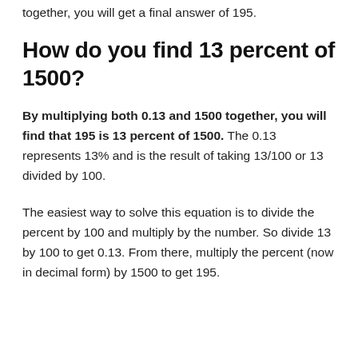together, you will get a final answer of 195.
How do you find 13 percent of 1500?
By multiplying both 0.13 and 1500 together, you will find that 195 is 13 percent of 1500. The 0.13 represents 13% and is the result of taking 13/100 or 13 divided by 100.
The easiest way to solve this equation is to divide the percent by 100 and multiply by the number. So divide 13 by 100 to get 0.13. From there, multiply the percent (now in decimal form) by 1500 to get 195.